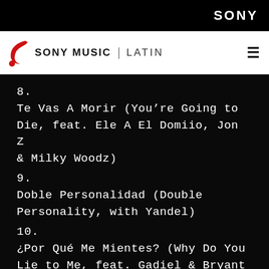SONY
SONY MUSIC | LATIN
8.
Te Vas A Morir (You’re Going to Die, feat. Ele A El Domiio, Jon Z & Milky Woodz)
9.
Doble Personalidad (Double Personality, with Yandel)
10.
¿Por Qué Me Mientes? (Why Do You Lie to Me, feat. Gadiel & Bryant